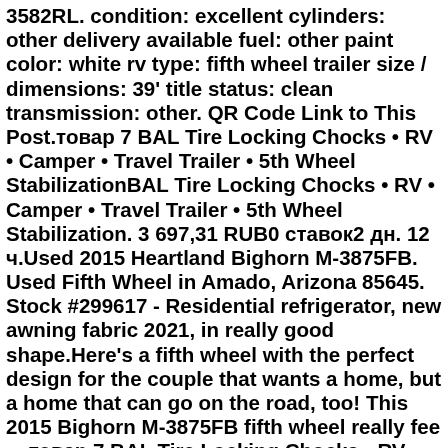3582RL. condition: excellent cylinders: other delivery available fuel: other paint color: white rv type: fifth wheel trailer size / dimensions: 39' title status: clean transmission: other. QR Code Link to This Post.товар 7 BAL Tire Locking Chocks • RV • Camper • Travel Trailer • 5th Wheel StabilizationBAL Tire Locking Chocks • RV • Camper • Travel Trailer • 5th Wheel Stabilization. 3 697,31 RUB0 ставок2 дн. 12 ч.Used 2015 Heartland Bighorn M-3875FB. Used Fifth Wheel in Amado, Arizona 85645. Stock #299617 - Residential refrigerator, new awning fabric 2021, in really good shape.Here's a fifth wheel with the perfect design for the couple that wants a home, but a home that can go on the road, too! This 2015 Bighorn M-3875FB fifth wheel really fee ... товар 7 BAL Tire Locking Chocks • RV • Camper • Travel Trailer • 5th Wheel StabilizationBAL Tire Locking Chocks • RV • Camper • Travel Trailer • 5th Wheel Stabilization. 3 697,31 RUB0 ставок2 дн. 12 ч.2015 Keystone RV Sprinter Wide Body 334FWBHS Fifth Wheel Keystone Sprinter, modèle 334FWBHS, 2015, 37